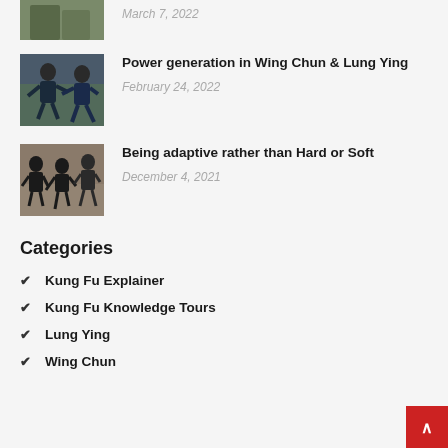[Figure (photo): Partial top article photo (cropped), showing figures outdoors]
March 7, 2022
[Figure (photo): Two people sparring/practicing Wing Chun outdoors on grass]
Power generation in Wing Chun & Lung Ying
February 24, 2022
[Figure (photo): Group of people in black practicing martial arts indoors]
Being adaptive rather than Hard or Soft
December 4, 2021
Categories
Kung Fu Explainer
Kung Fu Knowledge Tours
Lung Ying
Wing Chun